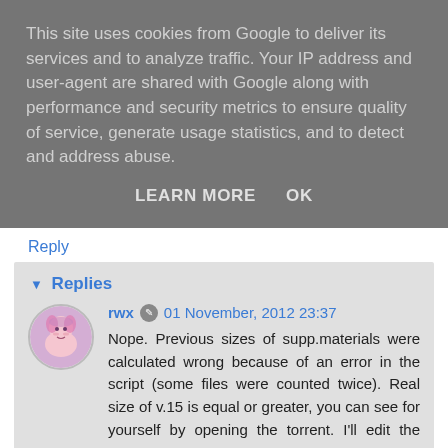This site uses cookies from Google to deliver its services and to analyze traffic. Your IP address and user-agent are shared with Google along with performance and security metrics to ensure quality of service, generate usage statistics, and to detect and address abuse.
LEARN MORE    OK
Reply
Replies
rwx  01 November, 2012 23:37
Nope. Previous sizes of supp.materials were calculated wrong because of an error in the script (some files were counted twice). Real size of v.15 is equal or greater, you can see for yourself by opening the torrent. I'll edit the posts.
Reply